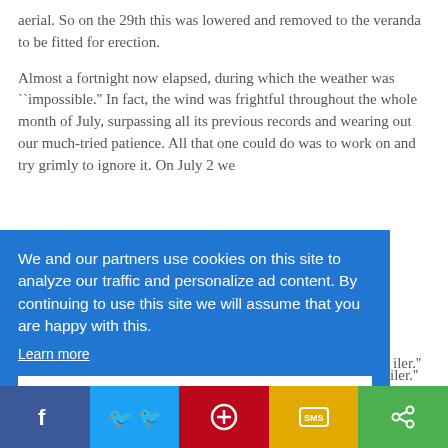aerial. So on the 29th this was lowered and removed to the veranda to be fitted for erection.
Almost a fortnight now elapsed, during which the weather was ``impossible.'' In fact, the wind was frightful throughout the whole month of July, surpassing all its previous records and wearing out our much-tried patience. All that one could do was to work on and try grimly to ignore it. On July 2 we ...iler.'' ...inding ...out ...an ...e ...f the ...st
We and our partners use cookies on this site to analyze our traffic and personalize ad content. By continuing to use this site we will assume that you are happy with this.
Learn more
Got it!